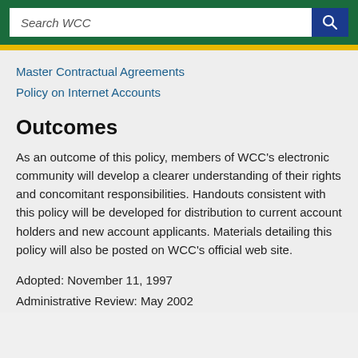Search WCC
Master Contractual Agreements
Policy on Internet Accounts
Outcomes
As an outcome of this policy, members of WCC's electronic community will develop a clearer understanding of their rights and concomitant responsibilities. Handouts consistent with this policy will be developed for distribution to current account holders and new account applicants. Materials detailing this policy will also be posted on WCC's official web site.
Adopted: November 11, 1997
Administrative Review: May 2002